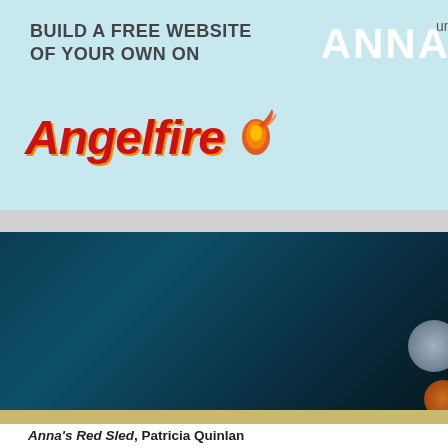[Figure (logo): Angelfire website banner advertisement with light blue background, text 'BUILD A FREE WEBSITE OF YOUR OWN ON' and Angelfire logo in red italic with flame icon]
undefined
ANNA
[Figure (illustration): Dark teal/navy gradient background section with decorative circular elements on the right side]
Anna's Red Sled, Patricia Quinlan